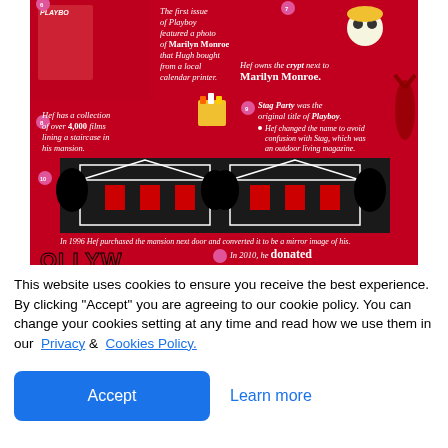[Figure (infographic): Red infographic about Hugh Hefner and Playboy facts. Contains text facts: the first issue of Playboy featured a photo of Marilyn Monroe that Hugh bought from a local calendar printer; Hef owns the crypt next to Marilyn Monroe; Hef has a collection of over 4,000 films lining a staircase in his mansion; Stag Party was the original title of Playboy (Hef changed the name to avoid confusion with Stag, which was an outdoor living magazine); In 1996 Hef purchased the mansion next door and converted it to be a mirror image of his; In 2010, he donated. Includes illustrations of Marilyn Monroe, skull, popcorn, deer, and mansion.]
This website uses cookies to ensure you receive the best experience. By clicking "Accept" you are agreeing to our cookie policy. You can change your cookies setting at any time and read how we use them in our  Privacy &  Cookies Policy.